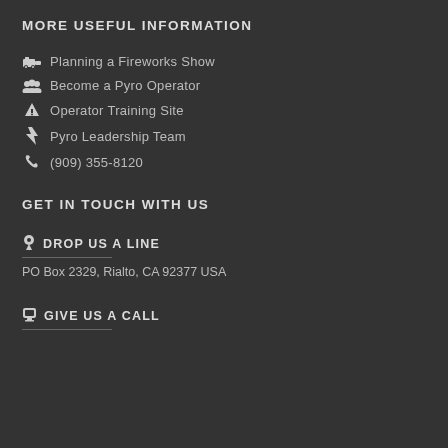MORE USEFUL INFORMATION
Planning a Fireworks Show
Become a Pyro Operator
Operator Training Site
Pyro Leadership Team
(909) 355-8120
GET IN TOUCH WITH US
DROP US A LINE
PO Box 2329, Rialto, CA 92377 USA
GIVE US A CALL